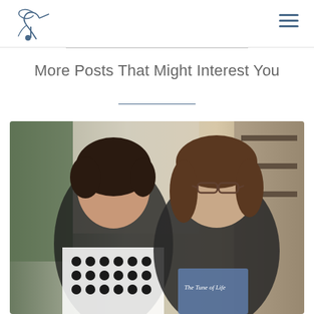[Logo: hummingbird/musical note icon] [Hamburger menu icon]
More Posts That Might Interest You
[Figure (photo): Two women smiling together indoors. The woman on the left has dark curly hair and is wearing a black and white patterned blouse. The woman on the right has shoulder-length brown hair, glasses, and is wearing a black top. She is holding a book titled 'The Tune of Life'. They are in what appears to be a cafe or restaurant setting.]